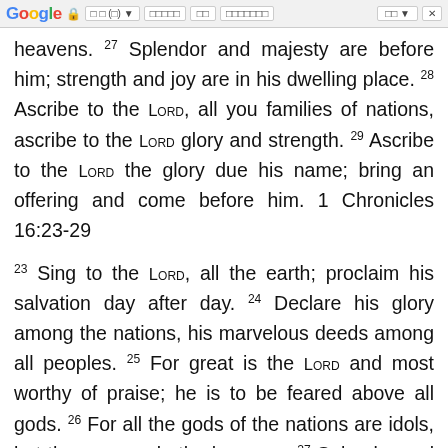Google browser bar
heavens. 27 Splendor and majesty are before him; strength and joy are in his dwelling place. 28 Ascribe to the LORD, all you families of nations, ascribe to the LORD glory and strength. 29 Ascribe to the LORD the glory due his name; bring an offering and come before him. 1 Chronicles 16:23-29
23 Sing to the LORD, all the earth; proclaim his salvation day after day. 24 Declare his glory among the nations, his marvelous deeds among all peoples. 25 For great is the LORD and most worthy of praise; he is to be feared above all gods. 26 For all the gods of the nations are idols, but the LORD made the heavens. 27 Splendor and majesty are before